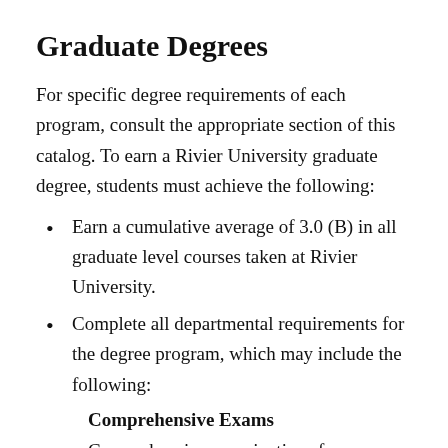Graduate Degrees
For specific degree requirements of each program, consult the appropriate section of this catalog. To earn a Rivier University graduate degree, students must achieve the following:
Earn a cumulative average of 3.0 (B) in all graduate level courses taken at Rivier University.
Complete all departmental requirements for the degree program, which may include the following:
Comprehensive Exams
Comprehensive examinations for some Master's degree programs are administered in